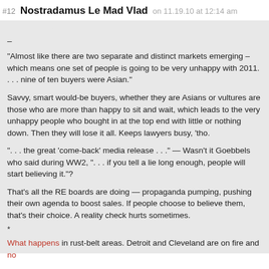#12 Nostradamus Le Mad Vlad on 11.19.10 at 12:14 am
–
"Almost like there are two separate and distinct markets emerging – which means one set of people is going to be very unhappy with 2011. . . . nine of ten buyers were Asian."

Savvy, smart would-be buyers, whether they are Asians or vultures are those who are more than happy to sit and wait, which leads to the very unhappy people who bought in at the top end with little or nothing down. Then they will lose it all. Keeps lawyers busy, 'tho.

". . . the great 'come-back' media release . . ." — Wasn't it Goebbels who said during WW2, ". . . if you tell a lie long enough, people will start believing it."?

That's all the RE boards are doing — propaganda pumping, pushing their own agenda to boost sales. If people choose to believe them, that's their choice. A reality check hurts sometimes.
*
What happens in rust-belt areas. Detroit and Cleveland are on fire and no...